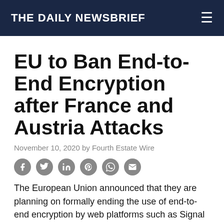THE DAILY NEWSBRIEF
EU to Ban End-to-End Encryption after France and Austria Attacks
November 10, 2020 by Fourth Estate Wire
[Figure (other): Social media share icons: Facebook, Twitter, LinkedIn, Pinterest, WhatsApp, Email]
The European Union announced that they are planning on formally ending the use of end-to-end encryption by web platforms such as Signal and WhatsApp after the